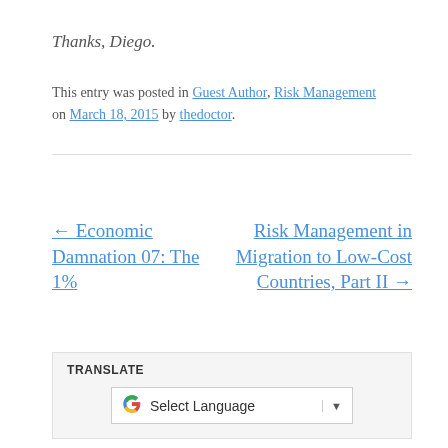Thanks, Diego.
This entry was posted in Guest Author, Risk Management on March 18, 2015 by thedoctor.
← Economic Damnation 07: The 1%
Risk Management in Migration to Low-Cost Countries, Part II →
TRANSLATE
[Figure (other): Google Translate widget showing 'Select Language' dropdown with Google logo]